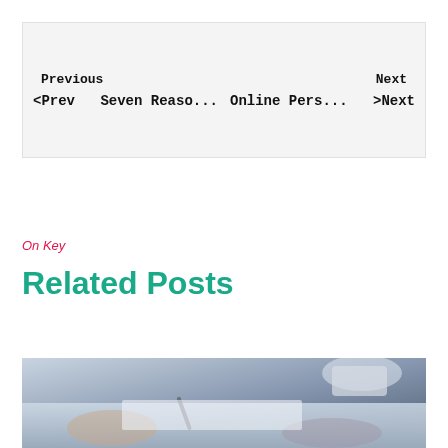Previous | Next | <Prev | >Next | Seven Reaso... | Online Pers...
On Key
Related Posts
[Figure (photo): A blurred photo of people at a desk, appearing to write or work with documents and a pen, business meeting setting]